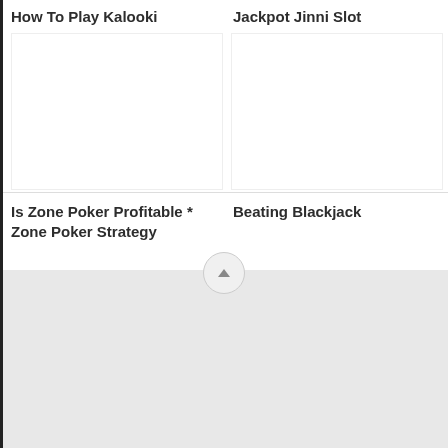How To Play Kalooki
Jackpot Jinni Slot
Is Zone Poker Profitable * Zone Poker Strategy
Beating Blackjack